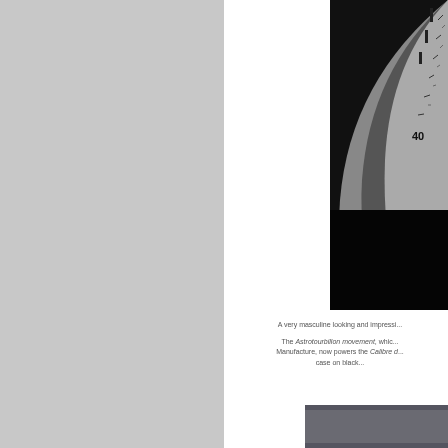[Figure (photo): Close-up black and white photograph of a watch dial/bezel showing numerals including '40', Roman numerals, and minute markers]
A very masculine looking and impressi...
The Astrotourbillon movement, which... Manufacture, now powers the Calibre d... case on black...
[Figure (photo): Partial view of a dark grey/black watch case or watch component, bottom right of page]